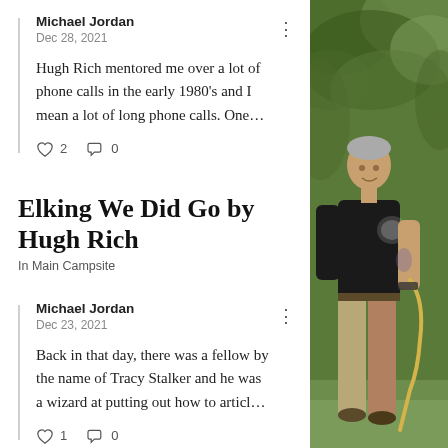Michael Jordan
Dec 28, 2021
Hugh Rich mentored me over a lot of phone calls in the early 1980's and I mean a lot of long phone calls. One…
♡ 2   0
Elking We Did Go by Hugh Rich
In Main Campsite
Michael Jordan
Dec 23, 2021
Back in that day, there was a fellow by the name of Tracy Stalker and he was a wizard at putting out how to articl…
♡ 1   0
[Figure (photo): A man in a black t-shirt and khaki pants holding a rope, photographed outdoors with green foliage in the background.]